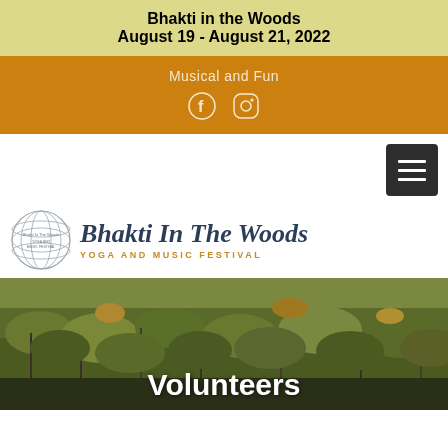Bhakti in the Woods
August 19 - August 21, 2022
Musical and Fun
[Figure (logo): Bhakti In The Woods Yoga and Music Festival logo with globe icon]
[Figure (photo): Forest/woodland scene with dense green shrubs and trees]
Volunteers